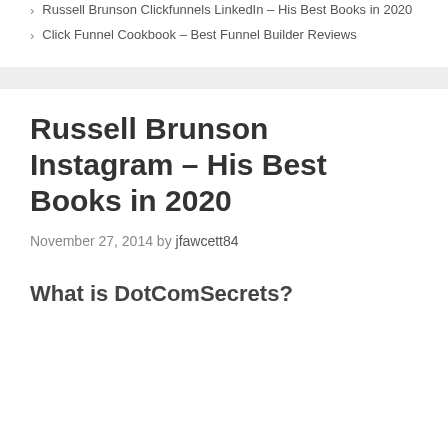Russell Brunson Clickfunnels LinkedIn – His Best Books in 2020
Click Funnel Cookbook – Best Funnel Builder Reviews
Russell Brunson Instagram – His Best Books in 2020
November 27, 2014 by jfawcett84
What is DotComSecrets?